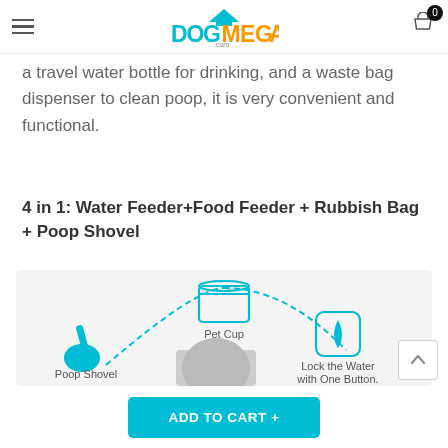DOGMEGA.COM
a travel water bottle for drinking, and a waste bag dispenser to clean poop, it is very convenient and functional.
4 in 1: Water Feeder+Food Feeder + Rubbish Bag + Poop Shovel
[Figure (infographic): Diagram showing 4-in-1 product features: Pet Cup at top, Poop Shovel at left, Lock the Water with One Button icon at right, with dashed arc lines connecting them. A dog image is partially visible at bottom center.]
ADD TO CART +